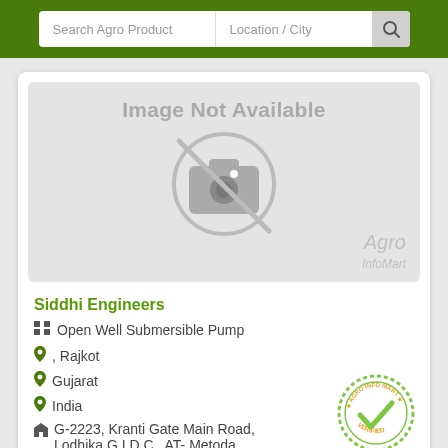[Figure (screenshot): Search bar with 'Search Agro Product' and 'Location / City' fields on a dark green background header]
[Figure (photo): Image Not Available placeholder with camera icon crossed out and Agro InfoMart watermark]
Siddhi Engineers
Open Well Submersible Pump
, Rajkot
Gujarat
India
G-2223, Kranti Gate Main Road, Lodhika G.I.D.C., AT- Metoda